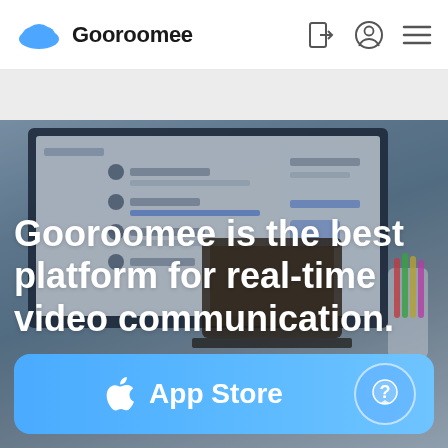Gooroomee
[Figure (screenshot): Website screenshot of Gooroomee homepage with navigation header showing logo, sign-in icon, user profile icon, and hamburger menu icon. Below is a gray band, then a hero section with a blurred background showing a laptop and monitor displaying the Gooroomee app interface, overlaid with white bold text reading 'Gooroomee is the best platform for real-time video communication.' At the bottom is a blue App Store button with Apple logo and a help bubble icon.]
Gooroomee is the best platform for real-time video communication.
App Store